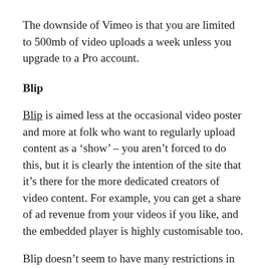The downside of Vimeo is that you are limited to 500mb of video uploads a week unless you upgrade to a Pro account.
Blip
Blip is aimed less at the occasional video poster and more at folk who want to regularly upload content as a ‘show’ – you aren’t forced to do this, but it is clearly the intention of the site that it’s there for the more dedicated creators of video content. For example, you can get a share of ad revenue from your videos if you like, and the embedded player is highly customisable too.
Blip doesn’t seem to have many restrictions in terms of what it allows you too upload, and also makes it possible to download the original video files.